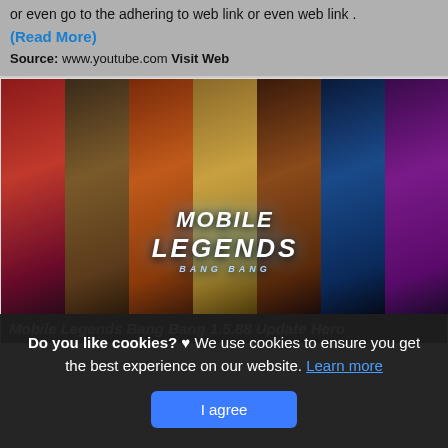or even go to the adhering to web link or even web link .
(Read More)
Source: www.youtube.com Visit Web
[Figure (illustration): Mobile Legends Bang Bang promotional artwork showing multiple hero characters in stylized vertical panels with the Mobile Legends logo in the center bottom area]
Mobile Legends Bang Bang 1.5.88 Update Hero
Do you like cookies? ♥ We use cookies to ensure you get the best experience on our website. Learn more
I agree